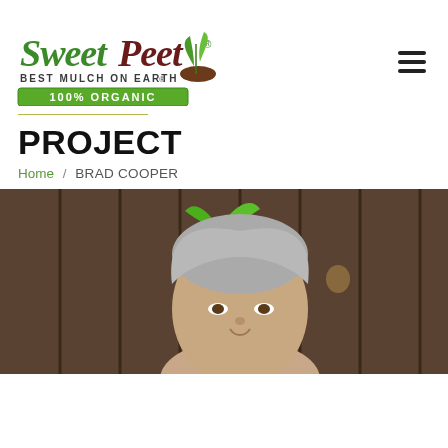[Figure (logo): Sweet Peet logo — green and brown script text 'Sweet Peet' with a plant sprout icon, tagline 'BEST MULCH ON EARTH.' and a green banner '100% ORGANIC']
PROJECT
Home / BRAD COOPER
[Figure (photo): Outdoor photo of a middle-aged man with silver/grey hair holding a green plant sapling in front of a dark wooden fence background]